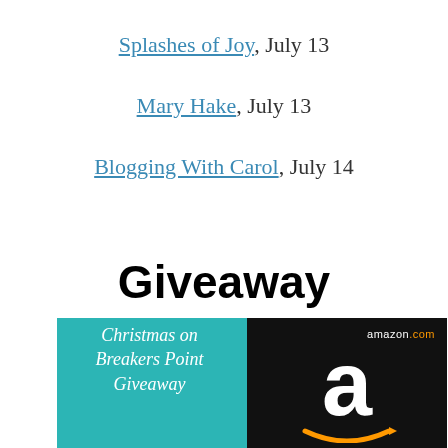Splashes of Joy, July 13
Mary Hake, July 13
Blogging With Carol, July 14
Giveaway
[Figure (infographic): Giveaway promotional image showing 'Christmas on Breakers Point Giveaway' text on teal background on the left side, and an Amazon gift card on black background on the right side.]